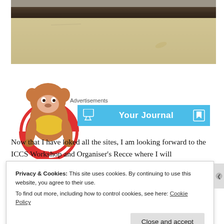[Figure (photo): Beach scene with a dark driftwood log across the top and sandy beach below, with some debris and leaves visible.]
[Figure (illustration): Cartoon character illustration of an animal (monkey or similar) holding a life preserver ring, with orange and red coloring, in a comic/drawn style.]
Advertisements
[Figure (screenshot): Blue banner/button labeled 'Your Journal' with a bookmark icon on the right and a device icon on the left.]
Now that I have loked all the sites, I am looking forward to the ICCS Workshop and Organiser's Recce where I will
Privacy & Cookies: This site uses cookies. By continuing to use this website, you agree to their use.
To find out more, including how to control cookies, see here: Cookie Policy
Close and accept